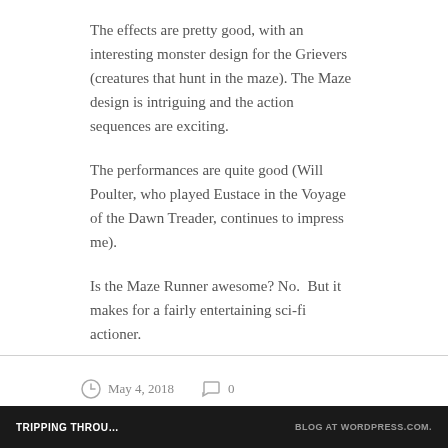The effects are pretty good, with an interesting monster design for the Grievers (creatures that hunt in the maze). The Maze design is intriguing and the action sequences are exciting.
The performances are quite good (Will Poulter, who played Eustace in the Voyage of the Dawn Treader, continues to impress me).
Is the Maze Runner awesome? No.  But it makes for a fairly entertaining sci-fi actioner.
May 4, 2018   0
[Figure (other): Loading spinner icon in gray]
TRIPPING THROU...    BLOG AT WORDPRESS.COM.